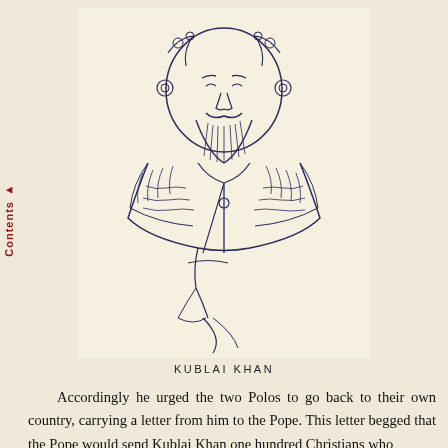[Figure (illustration): Line drawing illustration of Kublai Khan, showing his face with a mustache and beard, wearing ornate robes with intricate patterns, depicted in a traditional East Asian style]
KUBLAI KHAN
Accordingly he urged the two Polos to go back to their own country, carrying a letter from him to the Pope. This letter begged that the Pope would send Kublai Khan one hundred Christians who